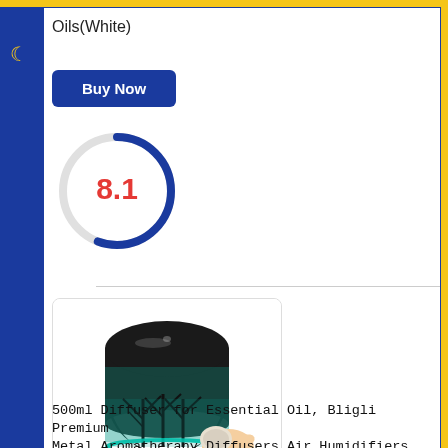Oils(White)
[Figure (other): Buy Now button - blue rounded rectangle with white text]
[Figure (other): Score circle gauge showing 8.1 rating in red text, blue arc indicating approximately 81% fill]
[Figure (photo): 500ml metal aromatherapy diffuser with tree pattern and teal/cyan LED lighting, shown with a hand holding a small stone]
500ml Diffuser for Essential Oil, Bligli Premium Metal Aromatherapy Diffusers Air Humidifiers for